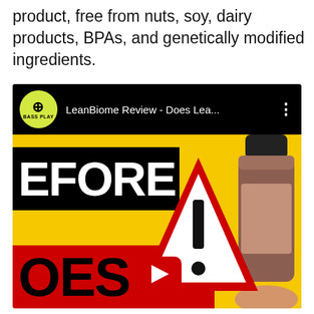product, free from nuts, soy, dairy products, BPAs, and genetically modified ingredients.
[Figure (screenshot): YouTube video thumbnail for 'LeanBiome Review - Does Lea...' by BASS PLAY channel. Thumbnail shows yellow background with black box containing 'EFORE' text, warning triangle sign, partial supplement bottle on right, red section at bottom with 'OES' text, and YouTube play button overlay.]